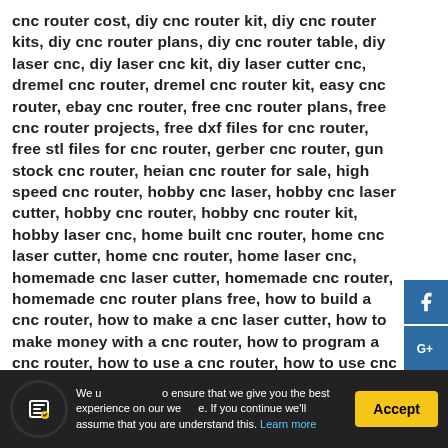cnc router cost, diy cnc router kit, diy cnc router kits, diy cnc router plans, diy cnc router table, diy laser cnc, diy laser cnc kit, diy laser cutter cnc, dremel cnc router, dremel cnc router kit, easy cnc router, ebay cnc router, free cnc router plans, free cnc router projects, free dxf files for cnc router, free stl files for cnc router, gerber cnc router, gun stock cnc router, heian cnc router for sale, high speed cnc router, hobby cnc laser, hobby cnc laser cutter, hobby cnc router, hobby cnc router kit, hobby laser cnc, home built cnc router, home cnc laser cutter, home cnc router, home laser cnc, homemade cnc laser cutter, homemade cnc router, homemade cnc router plans free, how to build a cnc router, how to make a cnc laser cutter, how to make money with a cnc router, how to program a cnc router, how to use a cnc router, how to use cnc router, iehk laser and cnc systems, industrial cnc router, industrial cnc router reviews, inexpensive cnc router, instructables cnc router, inventables cnc
[Figure (infographic): Social media share buttons sidebar: Facebook (f), Google+ (G+), Twitter (bird), Pinterest (P), Instagram (camera), WhatsApp (phone)]
We use cookies to ensure that we give you the best experience on our website. If you continue we'll assume that you are understand this. Learn more